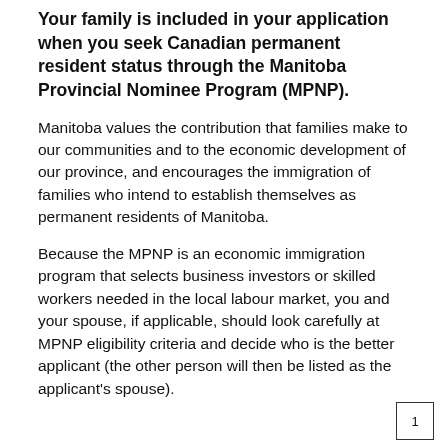Your family is included in your application when you seek Canadian permanent resident status through the Manitoba Provincial Nominee Program (MPNP).
Manitoba values the contribution that families make to our communities and to the economic development of our province, and encourages the immigration of families who intend to establish themselves as permanent residents of Manitoba.
Because the MPNP is an economic immigration program that selects business investors or skilled workers needed in the local labour market, you and your spouse, if applicable, should look carefully at MPNP eligibility criteria and decide who is the better applicant (the other person will then be listed as the applicant's spouse).
1